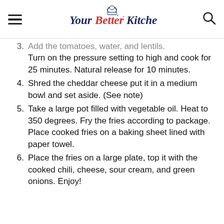Your Better Kitchen
3. Add the tomatoes, water, and lentils. Turn on the pressure setting to high and cook for 25 minutes. Natural release for 10 minutes.
4. Shred the cheddar cheese put it in a medium bowl and set aside. (See note)
5. Take a large pot filled with vegetable oil. Heat to 350 degrees. Fry the fries according to package. Place cooked fries on a baking sheet lined with paper towel.
6. Place the fries on a large plate, top it with the cooked chili, cheese, sour cream, and green onions. Enjoy!